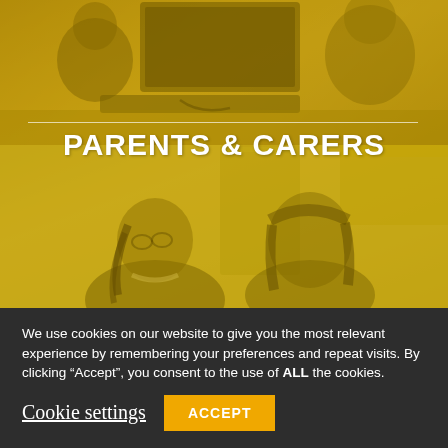[Figure (photo): Two-part hero image with golden/yellow overlay. Top portion shows students working at a computer desk viewed from behind. Bottom portion shows two students (one with glasses and braids, one with dark hair) looking down at work in a classroom.]
PARENTS & CARERS
We use cookies on our website to give you the most relevant experience by remembering your preferences and repeat visits. By clicking “Accept”, you consent to the use of ALL the cookies.
Cookie settings
ACCEPT